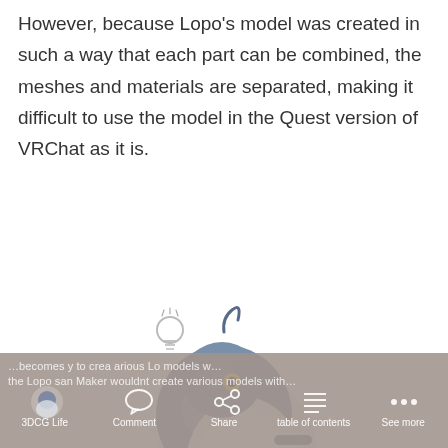However, because Lopo's model was created in such a way that each part can be combined, the meshes and materials are separated, making it difficult to use the model in the Quest version of VRChat as it is.
[Figure (illustration): A cute, round cartoon pigeon illustration with a blue-grey back, white belly, small yellow eye, a curled antenna on its head, a lightbulb icon near its head, striped wing markings, and small pink feet.]
3DCG Life   Comment   Share   table of contents   See more